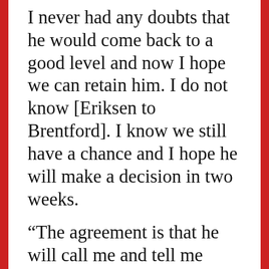I never had any doubts that he would come back to a good level and now I hope we can retain him. I do not know [Eriksen to Brentford]. I know we still have a chance and I hope he will make a decision in two weeks.
“The agreement is that he will call me and tell me what he wants to do. He hasn’t decided